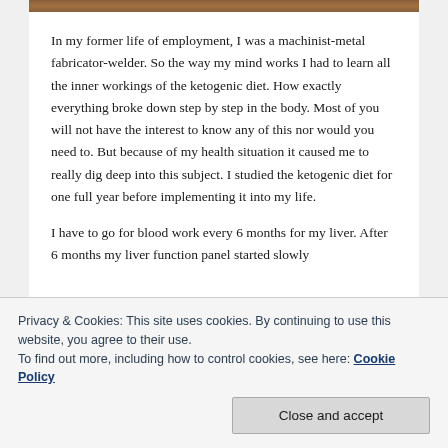[Figure (photo): Brown wooden texture strip at top of content area]
In my former life of employment, I was a machinist-metal fabricator-welder. So the way my mind works I had to learn all the inner workings of the ketogenic diet. How exactly everything broke down step by step in the body. Most of you will not have the interest to know any of this nor would you need to. But because of my health situation it caused me to really dig deep into this subject. I studied the ketogenic diet for one full year before implementing it into my life.
I have to go for blood work every 6 months for my liver. After 6 months my liver function panel started slowly
Privacy & Cookies: This site uses cookies. By continuing to use this website, you agree to their use.
To find out more, including how to control cookies, see here: Cookie Policy
Close and accept